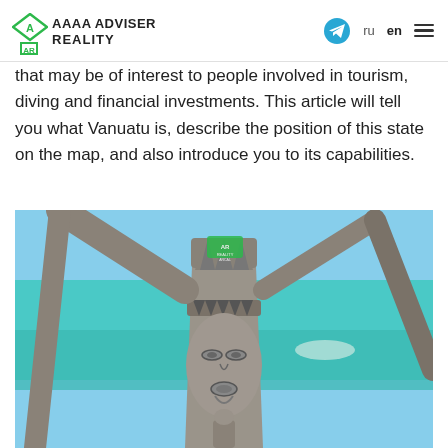AAAA ADVISER REALITY
that may be of interest to people involved in tourism, diving and financial investments. This article will tell you what Vanuatu is, describe the position of this state on the map, and also introduce you to its capabilities.
[Figure (photo): Wooden carved tribal statue/mask with a face featuring geometric patterns, photographed against a turquoise ocean background with beach scenery. A small watermark logo reads 'REALITY ARCAL' in the upper middle area.]